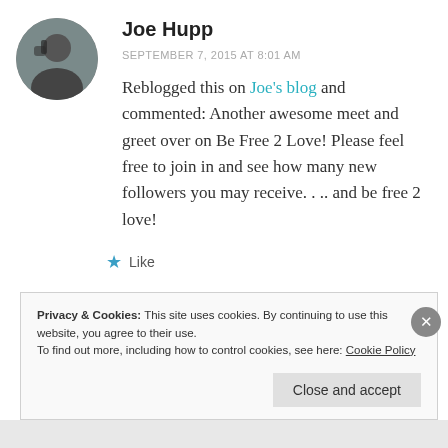[Figure (photo): Circular avatar photo of Joe Hupp, a man in dark clothing outdoors]
Joe Hupp
SEPTEMBER 7, 2015 AT 8:01 AM
Reblogged this on Joe's blog and commented: Another awesome meet and greet over on Be Free 2 Love! Please feel free to join in and see how many new followers you may receive. . .. and be free 2 love!
★ Like
Privacy & Cookies: This site uses cookies. By continuing to use this website, you agree to their use.
To find out more, including how to control cookies, see here: Cookie Policy
Close and accept